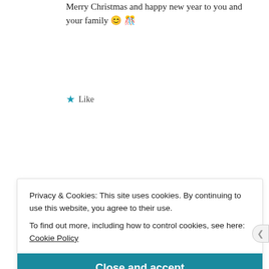Merry Christmas and happy new year to you and your family 😊 🎊
Like
Reply
Deeksha Pathak
December 25, 2018 at 9:52 pm
Privacy & Cookies: This site uses cookies. By continuing to use this website, you agree to their use. To find out more, including how to control cookies, see here: Cookie Policy
Close and accept